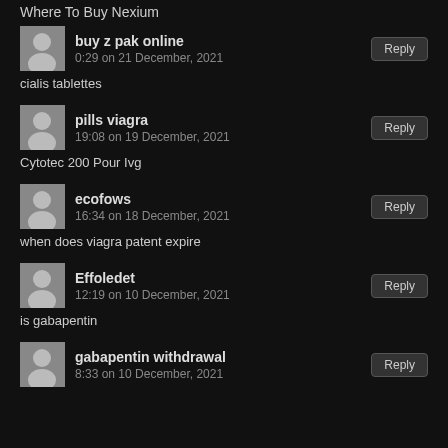Where To Buy Nexium
buy z pak online
0:29 on 21 December, 2021
cialis tablettes
pills viagra
19:08 on 19 December, 2021
Cytotec 200 Pour Ivg
ecofows
16:34 on 18 December, 2021
when does viagra patent expire
Effoledet
12:19 on 10 December, 2021
is gabapentin
gabapentin withdrawal
8:33 on 10 December, 2021